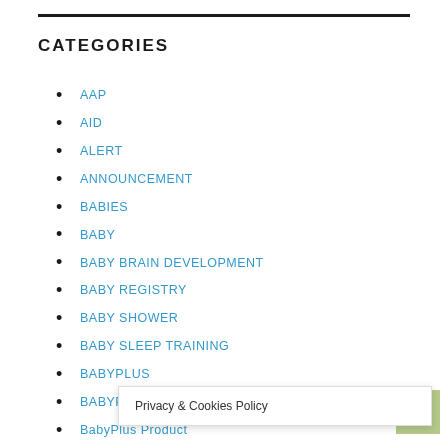CATEGORIES
AAP
AID
ALERT
ANNOUNCEMENT
BABIES
BABY
BABY BRAIN DEVELOPMENT
BABY REGISTRY
BABY SHOWER
BABY SLEEP TRAINING
BABYPLUS
BABYPLUS PRENATAL EDUCATION SYSTEM
BabyPlus Product
BANK
BEL...
Privacy & Cookies Policy